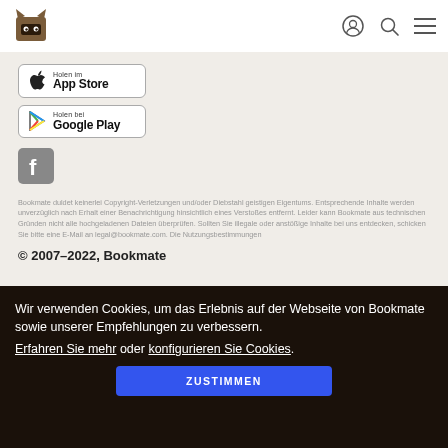Bookmate header with logo and navigation icons
[Figure (logo): Bookmate mascot logo - brown cat with mask]
[Figure (illustration): App Store download button with Apple logo]
[Figure (illustration): Google Play download button with play icon]
[Figure (illustration): Facebook icon button]
Bookmate duldet keinerlei Copyright-Verletzungen und/oder Diebstahl geistigen Eigentums. Entsprechende Inhalte werden unverzüglich nach Erhalt einer Benachrichtigung hinsichtlich eines Verstoßes entfernt. Leider kann Bookmate aus technischen Gründen nicht alle hochgeladenen Dateien überprüfen. Sollten Sie illegale oder anstößige Inhalte bei uns entdecken, schicken Sie bitte eine E-Mail an legal@bookmate.com. Die Nutzungsbestimmungen
© 2007–2022, Bookmate
Wir verwenden Cookies, um das Erlebnis auf der Webseite von Bookmate sowie unserer Empfehlungen zu verbessern. Erfahren Sie mehr oder konfigurieren Sie Cookies.
ZUSTIMMEN